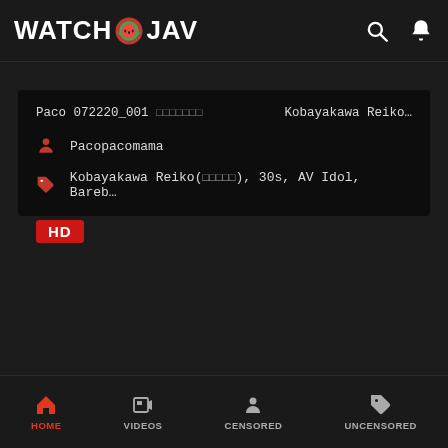WATCH JAV
Paco 072220_001 □□□□□□□    Kobayakawa Reiko…
Pacopacomama
Kobayakawa Reiko(□□□□□), 30s, AV Idol, Bareb…
HD
HOME   VIDEOS   CENSORED   UNCENSORED